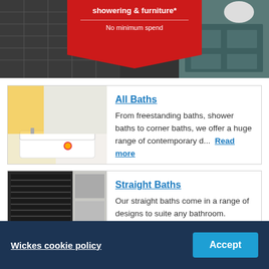[Figure (photo): Promotional banner for showering and furniture products with a red badge showing 'showering & furniture*' and 'No minimum spend'. Background shows bathroom product images on left and right.]
[Figure (photo): Product card image: white bath in a bright bathroom with yellow wall accents.]
All Baths
From freestanding baths, shower baths to corner baths, we offer a huge range of contemporary d... Read more
[Figure (photo): Product card image: straight bath in a dark moody bathroom with venetian blinds and shelving.]
Straight Baths
Our straight baths come in a range of designs to suite any bathroom.
Wickes cookie policy
Accept